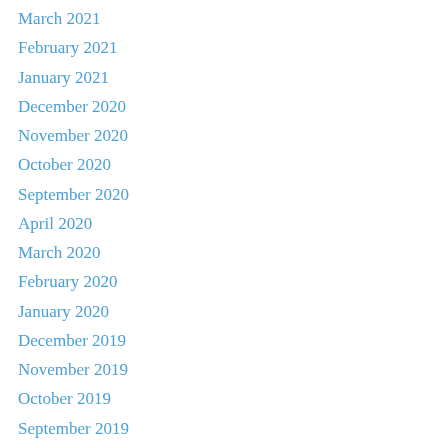March 2021
February 2021
January 2021
December 2020
November 2020
October 2020
September 2020
April 2020
March 2020
February 2020
January 2020
December 2019
November 2019
October 2019
September 2019
May 2019
April 2019
March 2019
February 2019
January 2019